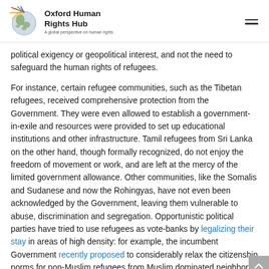Oxford Human Rights Hub — A global perspective on human rights
political exigency or geopolitical interest, and not the need to safeguard the human rights of refugees.
For instance, certain refugee communities, such as the Tibetan refugees, received comprehensive protection from the Government. They were even allowed to establish a government-in-exile and resources were provided to set up educational institutions and other infrastructure. Tamil refugees from Sri Lanka on the other hand, though formally recognized, do not enjoy the freedom of movement or work, and are left at the mercy of the limited government allowance. Other communities, like the Somalis and Sudanese and now the Rohingyas, have not even been acknowledged by the Government, leaving them vulnerable to abuse, discrimination and segregation. Opportunistic political parties have tried to use refugees as vote-banks by legalizing their stay in areas of high density: for example, the incumbent Government recently proposed to considerably relax the citizenship norms for non-Muslim refugees from Muslim dominated neighbors of India.